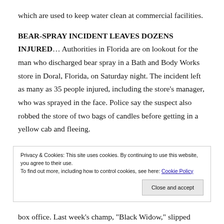which are used to keep water clean at commercial facilities.
BEAR-SPRAY INCIDENT LEAVES DOZENS INJURED… Authorities in Florida are on lookout for the man who discharged bear spray in a Bath and Body Works store in Doral, Florida, on Saturday night. The incident left as many as 35 people injured, including the store's manager, who was sprayed in the face. Police say the suspect also robbed the store of two bags of candles before getting in a yellow cab and fleeing.
Privacy & Cookies: This site uses cookies. By continuing to use this website, you agree to their use.
To find out more, including how to control cookies, see here: Cookie Policy
box office. Last week's champ, "Black Widow," slipped